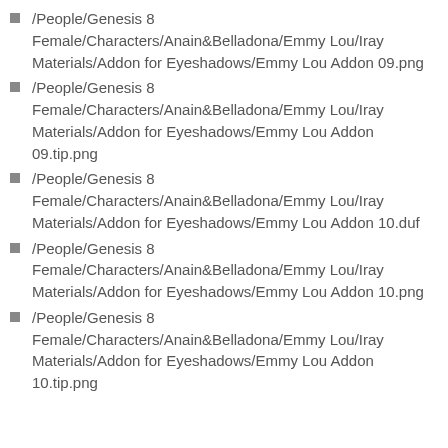/People/Genesis 8 Female/Characters/Anain&Belladona/Emmy Lou/Iray Materials/Addon for Eyeshadows/Emmy Lou Addon 09.png
/People/Genesis 8 Female/Characters/Anain&Belladona/Emmy Lou/Iray Materials/Addon for Eyeshadows/Emmy Lou Addon 09.tip.png
/People/Genesis 8 Female/Characters/Anain&Belladona/Emmy Lou/Iray Materials/Addon for Eyeshadows/Emmy Lou Addon 10.duf
/People/Genesis 8 Female/Characters/Anain&Belladona/Emmy Lou/Iray Materials/Addon for Eyeshadows/Emmy Lou Addon 10.png
/People/Genesis 8 Female/Characters/Anain&Belladona/Emmy Lou/Iray Materials/Addon for Eyeshadows/Emmy Lou Addon 10.tip.png